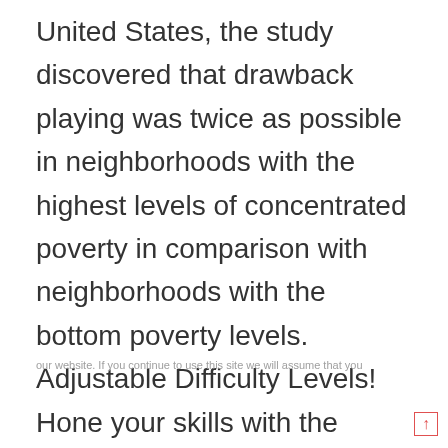United States, the study discovered that drawback playing was twice as possible in neighborhoods with the highest levels of concentrated poverty in comparison with neighborhoods with the bottom poverty levels. Adjustable Difficulty Levels! Hone your skills with the adjustable difficulty ranges. Tahiti village (las vegas) lodge opinions, photographs, charges. Tahiti village inn las vegas what's the most effective resort. Las vegas inn reservation center's individual pleasant inn reservation